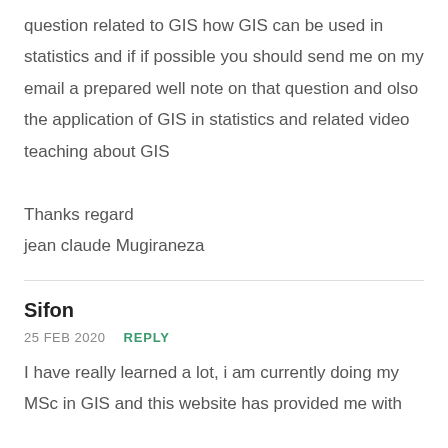question related to GIS how GIS can be used in statistics and if if possible you should send me on my email a prepared well note on that question and olso the application of GIS in statistics and related video teaching about GIS

Thanks regard
jean claude Mugiraneza
Sifon
25 FEB 2020   REPLY
I have really learned a lot, i am currently doing my MSc in GIS and this website has provided me with